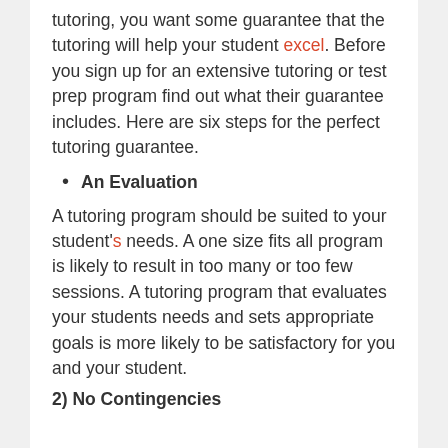tutoring, you want some guarantee that the tutoring will help your student excel. Before you sign up for an extensive tutoring or test prep program find out what their guarantee includes. Here are six steps for the perfect tutoring guarantee.
An Evaluation
A tutoring program should be suited to your student's needs. A one size fits all program is likely to result in too many or too few sessions. A tutoring program that evaluates your students needs and sets appropriate goals is more likely to be satisfactory for you and your student.
2) No Contingencies